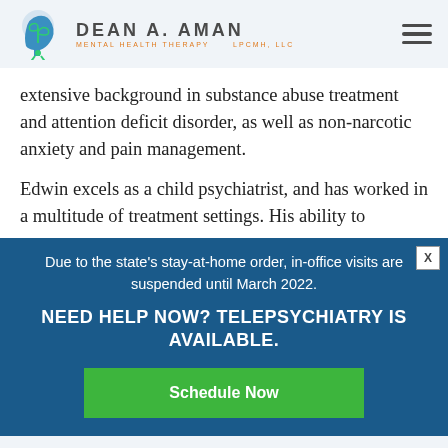DEAN A. AMAN MENTAL HEALTH THERAPY LPCMH, LLC
extensive background in substance abuse treatment and attention deficit disorder, as well as non-narcotic anxiety and pain management.
Edwin excels as a child psychiatrist, and has worked in a multitude of treatment settings. His ability to
Due to the state's stay-at-home order, in-office visits are suspended until March 2022.
NEED HELP NOW? TELEPSYCHIATRY IS AVAILABLE.
Schedule Now